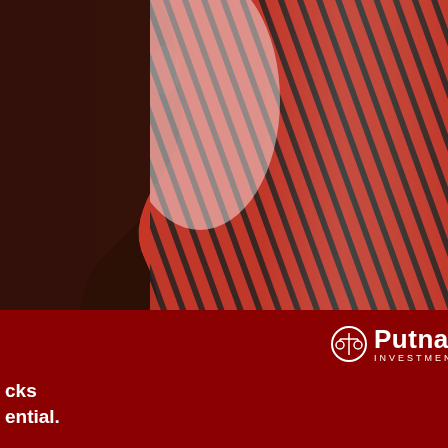[Figure (illustration): Putnam Investments advertisement showing a red silhouette of a human face profile overlaid with red diagonal stripes/lines on a dark red and white background. The Putnam Investments logo (balance scale icon) appears in white on a dark red background panel at the bottom left. Text reads 'cks' and 'ential.' in white on the dark red portion.]
3.0) by Kjst.wm.tribe.2015
erved in the
d after 9/11:
032 counties
e Vietnam Era
t of 3,032
g the Korean